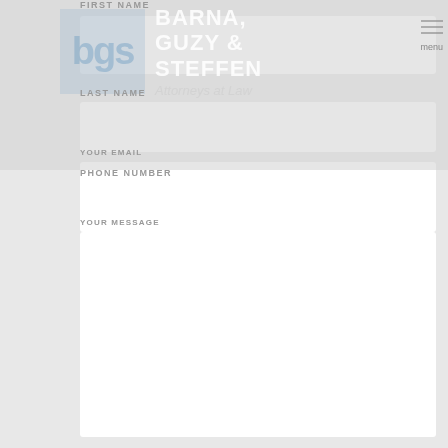BARNA, GUZY & STEFFEN Attorneys at Law
FIRST NAME
[Figure (screenshot): Empty first name input field (white box)]
LAST NAME
[Figure (screenshot): Empty last name input field (white box)]
PHONE NUMBER
[Figure (screenshot): Empty phone number input field (white box)]
YOUR EMAIL
[Figure (screenshot): Empty email input field (white box)]
YOUR MESSAGE
[Figure (screenshot): Empty message textarea (white box)]